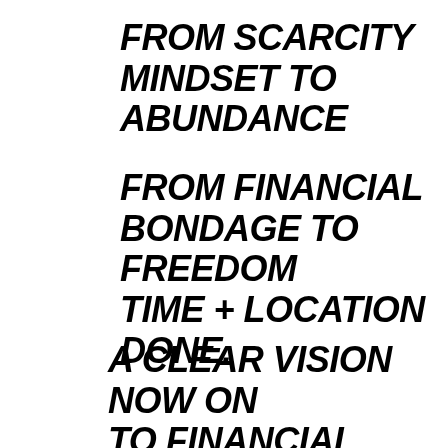FROM SCARCITY MINDSET TO ABUNDANCE
FROM FINANCIAL BONDAGE TO FREEDOM TIME + LOCATION DONE.
A CLEAR VISION NOW ON TO FINANCIAL FREEDOM